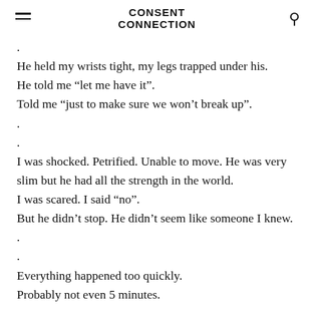CONSENT CONNECTION
.
He held my wrists tight, my legs trapped under his.
He told me “let me have it”.
Told me “just to make sure we won’t break up”.
.
.
I was shocked. Petrified. Unable to move. He was very slim but he had all the strength in the world.
I was scared. I said “no”.
But he didn’t stop. He didn’t seem like someone I knew.
.
.
Everything happened too quickly.
Probably not even 5 minutes.
.
.